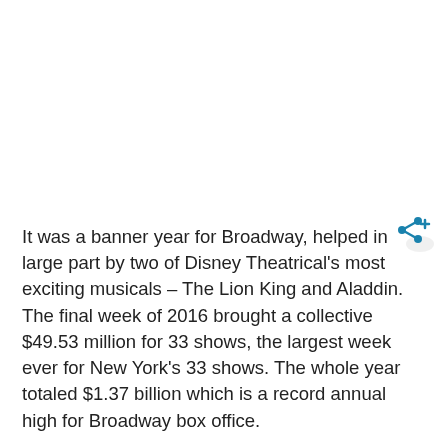It was a banner year for Broadway, helped in large part by two of Disney Theatrical's most exciting musicals – The Lion King and Aladdin. The final week of 2016 brought a collective $49.53 million for 33 shows, the largest week ever for New York's 33 shows. The whole year totaled $1.37 billion which is a record annual high for Broadway box office.